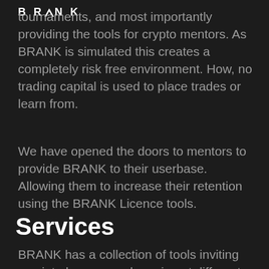BRANK
tournaments, and most importantly providing the tools for crypto mentors. As BRANK is simulated this creates a completely risk free environment. How, no trading capital is used to place trades or learn from.
We have opened the doors to mentors to provide BRANK to their userbase. Allowing them to increase their retention using the BRANK Licence tools.
Services
BRANK has a collection of tools inviting you into lessons and gaming at different levels, even being